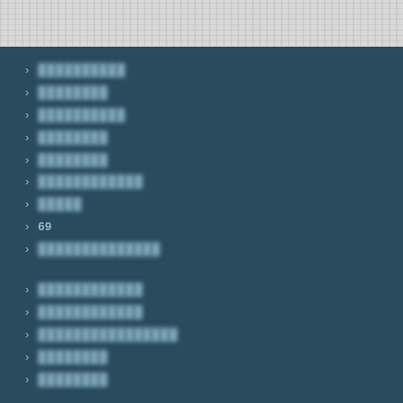[Figure (other): Textured gray banner at top of page]
▶ ██████████
▶ ████████
▶ ██████████
▶ ████████
▶ ████████
▶ ████████████
▶ █████
▶ 69
▶ ██████████████
▶ ████████████
▶ ████████████
▶ ████████████████
▶ ████████
▶ ████████